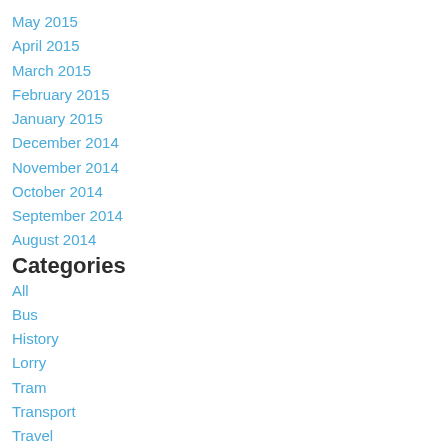May 2015
April 2015
March 2015
February 2015
January 2015
December 2014
November 2014
October 2014
September 2014
August 2014
Categories
All
Bus
History
Lorry
Tram
Transport
Travel
Truck